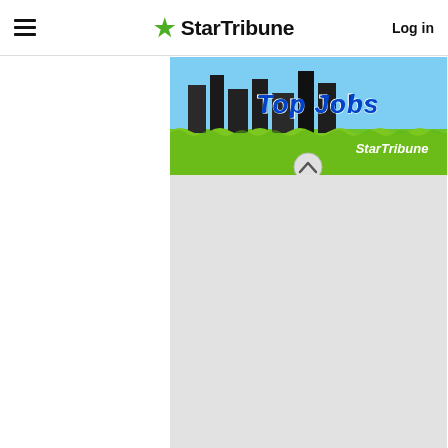≡  ★StarTribune  Log in
[Figure (illustration): StarTribune Top Jobs advertisement banner with green grass background and building silhouettes]
[Figure (screenshot): Gray empty content area below the ad banner]